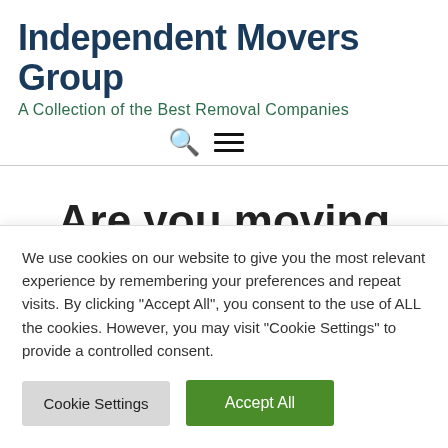Independent Movers Group
A Collection of the Best Removal Companies
Are you moving house from Brookwood to
We use cookies on our website to give you the most relevant experience by remembering your preferences and repeat visits. By clicking "Accept All", you consent to the use of ALL the cookies. However, you may visit "Cookie Settings" to provide a controlled consent.